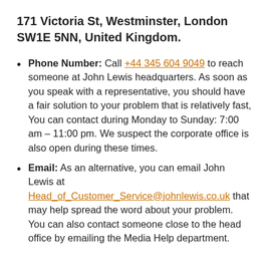171 Victoria St, Westminster, London SW1E 5NN, United Kingdom.
Phone Number: Call +44 345 604 9049 to reach someone at John Lewis headquarters. As soon as you speak with a representative, you should have a fair solution to your problem that is relatively fast, You can contact during Monday to Sunday: 7:00 am – 11:00 pm. We suspect the corporate office is also open during these times.
Email: As an alternative, you can email John Lewis at Head_of_Customer_Service@johnlewis.co.uk that may help spread the word about your problem. You can also contact someone close to the head office by emailing the Media Help department.